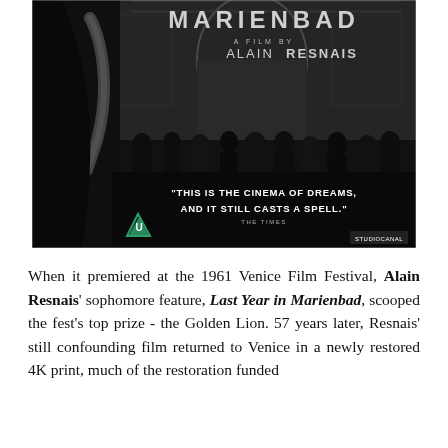[Figure (photo): Movie poster for 'Last Year in Marienbad' (Marienbad), A Film by Alain Resnais. Black and white poster showing a dark silhouetted figure on the left with a pale arm visible, a group of silhouetted people in the background, an ornate arch doorway. Quote reads: 'THIS IS THE CINEMA OF DREAMS, AND IT STILL CASTS A SPELL.' - THE TIMES. Green UK 'U' rating triangle badge on lower left. StudioCanal logo on lower right.]
When it premiered at the 1961 Venice Film Festival, Alain Resnais' sophomore feature, Last Year in Marienbad, scooped the fest's top prize - the Golden Lion. 57 years later, Resnais' still confounding film returned to Venice in a newly restored 4K print, much of the restoration funded